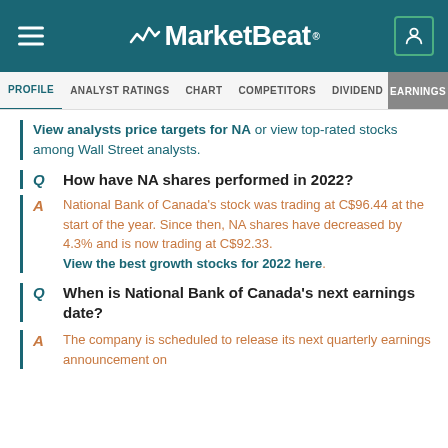MarketBeat
PROFILE   ANALYST RATINGS   CHART   COMPETITORS   DIVIDEND   EARNINGS
View analysts price targets for NA or view top-rated stocks among Wall Street analysts.
Q  How have NA shares performed in 2022?
A  National Bank of Canada's stock was trading at C$96.44 at the start of the year. Since then, NA shares have decreased by 4.3% and is now trading at C$92.33. View the best growth stocks for 2022 here.
Q  When is National Bank of Canada's next earnings date?
A  The company is scheduled to release its next quarterly earnings announcement on